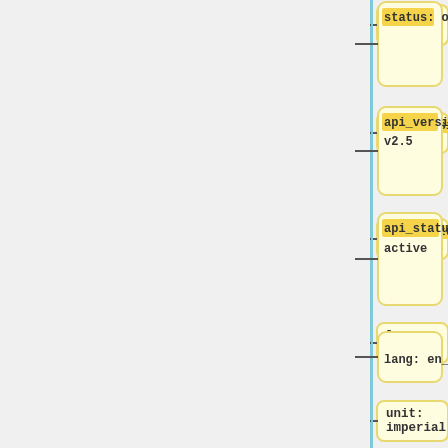[Figure (flowchart): YAML/JSON tree diagram with node boxes showing key-value pairs: status: ok, api_version: v2.5, api_status: active, lang: en_US, unit: imperial, tzshift: -14400, timezone: America/New_York, server_time: 1585894300, location:, -40.7128. Each box connected by a horizontal dash to a vertical blue line.]